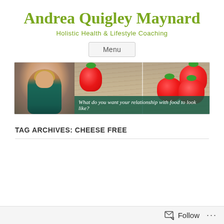Andrea Quigley Maynard
Holistic Health & Lifestyle Coaching
Menu
[Figure (photo): Header banner with three panels: a woman with blonde hair wearing a teal blouse on the left, followed by two panels showing red strawberries on a wooden surface with the caption 'What do you want your relationship with food to look like?']
TAG ARCHIVES: CHEESE FREE
Follow  ...